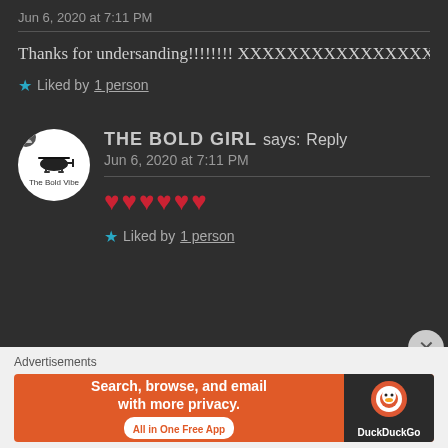Jun 6, 2020 at 7:11 PM
Thanks for undersanding!!!!!!!!! XXXXXXXXXXXXXXXXXXXXXXXXXXXXXXXXXX
★ Liked by 1 person
[Figure (illustration): Avatar circle with helicopter logo for The Bold Vibe]
THE BOLD GIRL says: Reply
Jun 6, 2020 at 7:11 PM
♥♥♥♥♥♥
★ Liked by 1 person
Advertisements
[Figure (screenshot): DuckDuckGo advertisement banner: Search, browse, and email with more privacy. All in One Free App.]